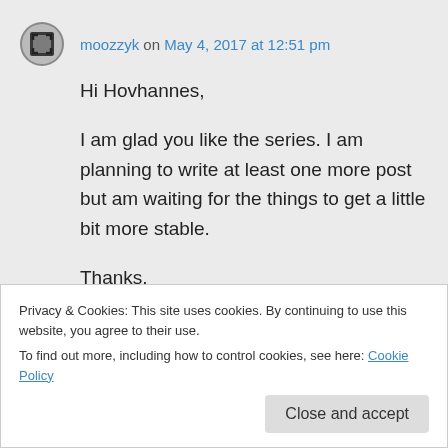moozzyk on May 4, 2017 at 12:51 pm
Hi Hovhannes,

I am glad you like the series. I am planning to write at least one more post but am waiting for the things to get a little bit more stable.

Thanks,
Pawel
Privacy & Cookies: This site uses cookies. By continuing to use this website, you agree to their use.
To find out more, including how to control cookies, see here: Cookie Policy
Close and accept